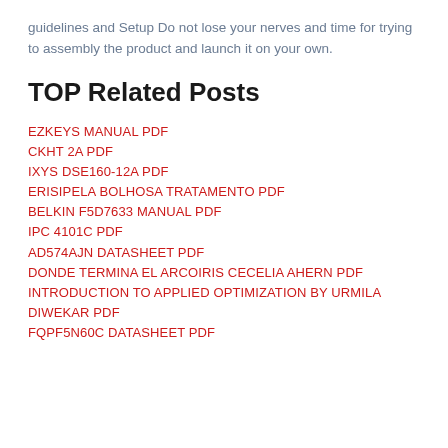guidelines and Setup Do not lose your nerves and time for trying to assembly the product and launch it on your own.
TOP Related Posts
EZKEYS MANUAL PDF
CKHT 2A PDF
IXYS DSE160-12A PDF
ERISIPELA BOLHOSA TRATAMENTO PDF
BELKIN F5D7633 MANUAL PDF
IPC 4101C PDF
AD574AJN DATASHEET PDF
DONDE TERMINA EL ARCOIRIS CECELIA AHERN PDF
INTRODUCTION TO APPLIED OPTIMIZATION BY URMILA DIWEKAR PDF
FQPF5N60C DATASHEET PDF